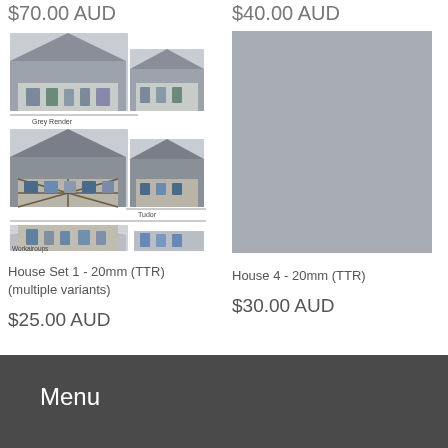$70.00 AUD
$40.00 AUD
[Figure (photo): Collage of miniature house models in three styles: Grey Render (top), Tudor (middle), and Workairoups (bottom), showing 20mm scale house set with multiple variants]
[Figure (photo): Grey placeholder image for House 4 - 20mm (TTR) product]
House Set 1 - 20mm (TTR) (multiple variants)
House 4 - 20mm (TTR)
$25.00 AUD
$30.00 AUD
Menu